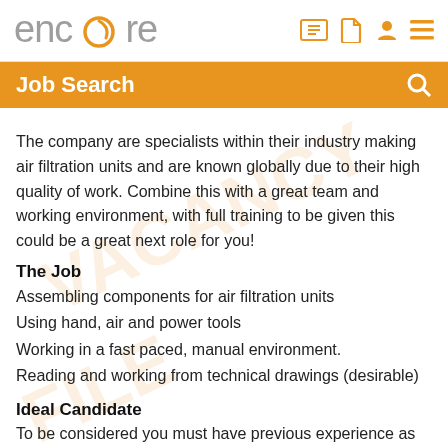encore — logo with navigation icons
Job Search
The company are specialists within their industry making air filtration units and are known globally due to their high quality of work. Combine this with a great team and working environment, with full training to be given this could be a great next role for you!
The Job
Assembling components for air filtration units
Using hand, air and power tools
Working in a fast paced, manual environment.
Reading and working from technical drawings (desirable)
Ideal Candidate
To be considered you must have previous experience as an assembly operative, as well as the ability to work